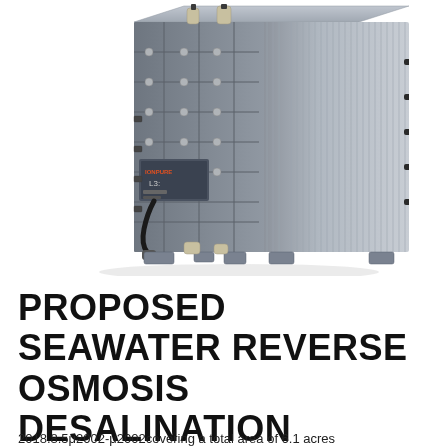[Figure (photo): A grey industrial seawater reverse osmosis desalination unit/module (IonPure branded) with ribbed casing, multiple pipe fittings, connectors, and a small control box on the front, shown at a 3/4 angle against a white background.]
PROPOSED SEAWATER REVERSE OSMOSIS DESALINATION
2018.8.5μ2002-μ2002covering a total area of 6.1 acres